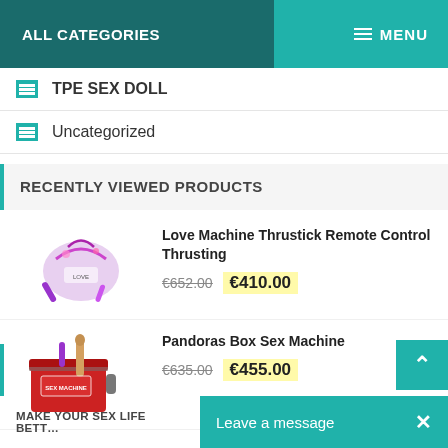ALL CATEGORIES    MENU
TPE SEX DOLL
Uncategorized
RECENTLY VIEWED PRODUCTS
Love Machine Thrustick Remote Control Thrusting
€652.00  €410.00
Pandoras Box Sex Machine
€635.00  €455.00
Leave a message  ×
MAKE YOUR SEX LIFE BETT…